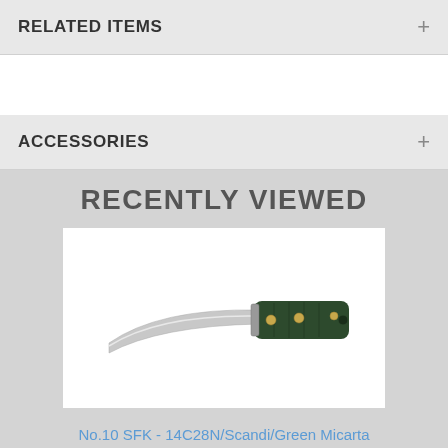RELATED ITEMS
ACCESSORIES
RECENTLY VIEWED
[Figure (photo): Knife with green Micarta handle and silver blade on white background]
No.10 SFK - 14C28N/Scandi/Green Micarta
[Figure (logo): Brand logos footer: Hanwei, lion crest, Kingston, Dragon]